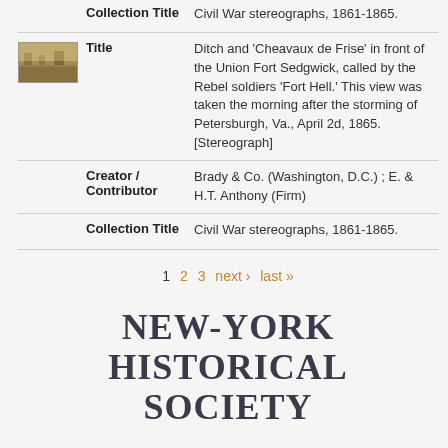|  | Field | Value |
| --- | --- | --- |
|  | Collection Title | Civil War stereographs, 1861-1865. |
| [thumbnail] | Title | Ditch and 'Cheavaux de Frise' in front of the Union Fort Sedgwick, called by the Rebel soldiers 'Fort Hell.' This view was taken the morning after the storming of Petersburgh, Va., April 2d, 1865. [Stereograph] |
|  | Creator / Contributor | Brady & Co. (Washington, D.C.) ; E. & H.T. Anthony (Firm) |
|  | Collection Title | Civil War stereographs, 1861-1865. |
1  2  3  next ›  last »
NEW-YORK HISTORICAL SOCIETY